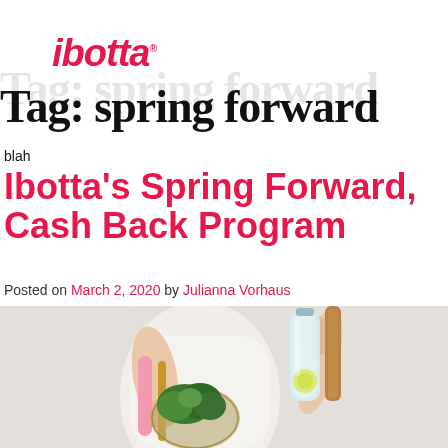[Figure (logo): ibotta logo in bold italic red/pink font]
Tag: spring forward
blah
Ibotta’s Spring Forward, Cash Back Program
Posted on March 2, 2020 by Julianna Vorhaus
[Figure (photo): Woman holding a pink reusable shopping bag with fresh greens and a water bottle with lemon slices, light background]